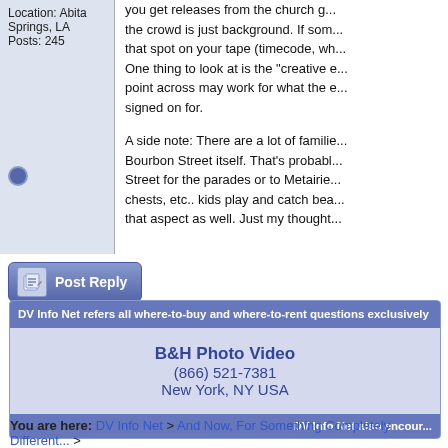Location: Abita Springs, LA
Posts: 245
you get releases from the church group, the crowd is just background. If someone find that spot on your tape (timecode, wh... One thing to look at is the "creative e... point across may work for what the e... signed on for.

A side note: There are a lot of familie... Bourbon Street itself. That's probabl... Street for the parades or to Metairie... chests, etc.. kids play and catch bea... that aspect as well. Just my thought...
[Figure (screenshot): Post Reply button with pencil/paper icon]
DV Info Net refers all where-to-buy and where-to-rent questions exclusively
B&H Photo Video
(866) 521-7381
New York, NY USA
DV Info Net also encour...
You are here: DV Info Net > And Now, For Something Completely Different... >